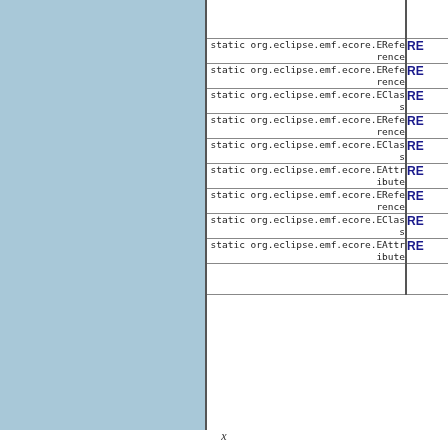| Type | Link |
| --- | --- |
|  |  |
| static org.eclipse.emf.ecore.EReference | RE... |
| static org.eclipse.emf.ecore.EReference | RE... |
| static org.eclipse.emf.ecore.EClass | RE... |
| static org.eclipse.emf.ecore.EReference | RE... |
| static org.eclipse.emf.ecore.EClass | RE... |
| static org.eclipse.emf.ecore.EAttribute | RE... |
| static org.eclipse.emf.ecore.EReference | RE... |
| static org.eclipse.emf.ecore.EClass | RE... |
| static org.eclipse.emf.ecore.EAttribute | RE... |
|  |  |